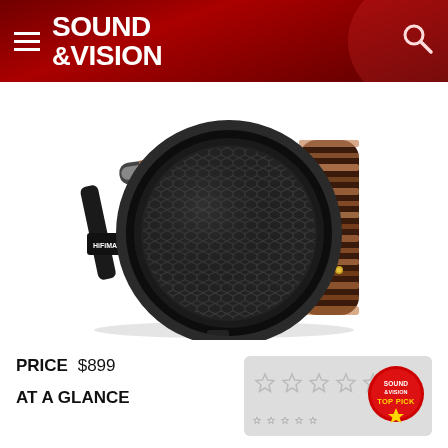Sound & Vision
[Figure (photo): HiFiMAN HE-560 planar magnetic headphones shown from the side, featuring a black circular ear cup with honeycomb mesh grille, wood-look striped accents in copper/rosewood tones, black headband with leather padding, and HiFiMAN logo on the adjustment slider. Model label HE-560 visible on the headband.]
PRICE $899
AT A GLANCE
[Figure (infographic): Rating box showing 4 out of 5 stars (stars appear as large light grey outlined stars) with a circular Sound & Vision Top Pick badge/seal in red and gold on the right side.]